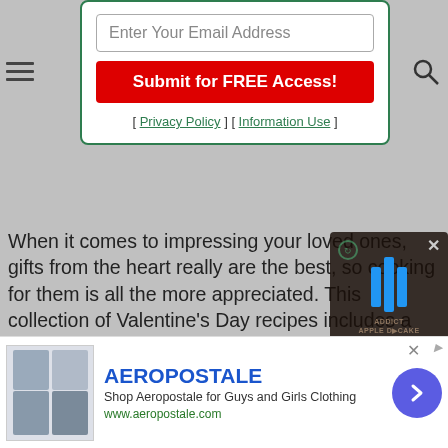[Figure (screenshot): Email signup modal with input field and red submit button, privacy policy links]
When it comes to impressing your loved ones, gifts from the heart really are the best, so cooking for them is all the more appreciated. This collection of Valentine's Day recipes includes a variety of dessert and sweet options like chocolate dipped Oreos, cupcake ic... enticing dinner entrée ide... chicken dinners and roas... you and your significant ... Impress those you love b... recipes from 20 Valentine's Day Recipes: Blogger Edition free eCookbook.
[Figure (screenshot): Video overlay with blue bar chart logo and ADDICTED ISH STYLE APPLE D CAKE text, mute button]
[Figure (screenshot): Aeropostale advertisement banner with logo, description and arrow button]